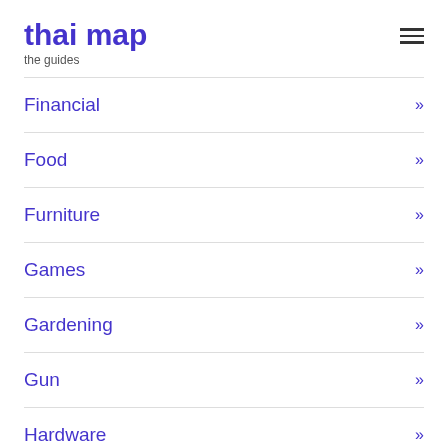thai map
the guides
Financial »
Food »
Furniture »
Games »
Gardening »
Gun »
Hardware »